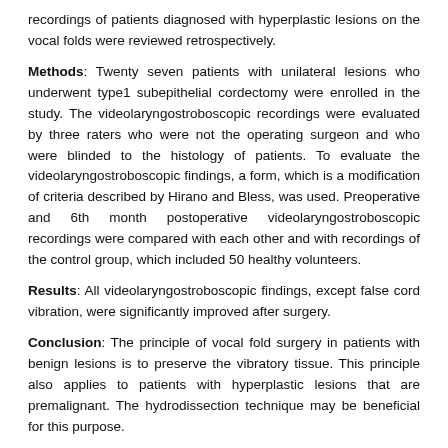recordings of patients diagnosed with hyperplastic lesions on the vocal folds were reviewed retrospectively.
Methods: Twenty seven patients with unilateral lesions who underwent type1 subepithelial cordectomy were enrolled in the study. The videolaryngostroboscopic recordings were evaluated by three raters who were not the operating surgeon and who were blinded to the histology of patients. To evaluate the videolaryngostroboscopic findings, a form, which is a modification of criteria described by Hirano and Bless, was used. Preoperative and 6th month postoperative videolaryngostroboscopic recordings were compared with each other and with recordings of the control group, which included 50 healthy volunteers.
Results: All videolaryngostroboscopic findings, except false cord vibration, were significantly improved after surgery.
Conclusion: The principle of vocal fold surgery in patients with benign lesions is to preserve the vibratory tissue. This principle also applies to patients with hyperplastic lesions that are premalignant. The hydrodissection technique may be beneficial for this purpose.